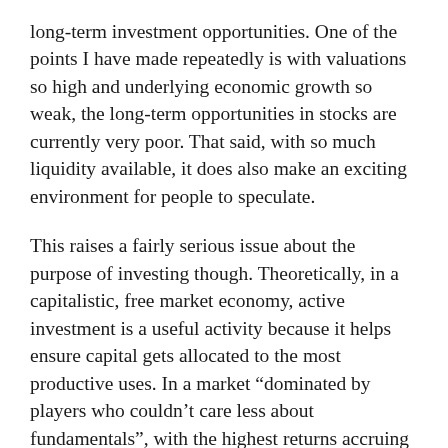long-term investment opportunities. One of the points I have made repeatedly is with valuations so high and underlying economic growth so weak, the long-term opportunities in stocks are currently very poor. That said, with so much liquidity available, it does also make an exciting environment for people to speculate.
This raises a fairly serious issue about the purpose of investing though. Theoretically, in a capitalistic, free market economy, active investment is a useful activity because it helps ensure capital gets allocated to the most productive uses. In a market “dominated by players who couldn’t care less about fundamentals”, with the highest returns accruing to companies that don’t earn a profit, and with popular investment trends frustrating US policy goals, it is hard to argue that market participation serves any useful purpose